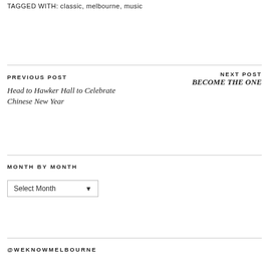TAGGED WITH: classic, melbourne, music
PREVIOUS POST
Head to Hawker Hall to Celebrate Chinese New Year
NEXT POST
BECOME THE ONE
MONTH BY MONTH
Select Month
@WEKNOWMELBOURNE